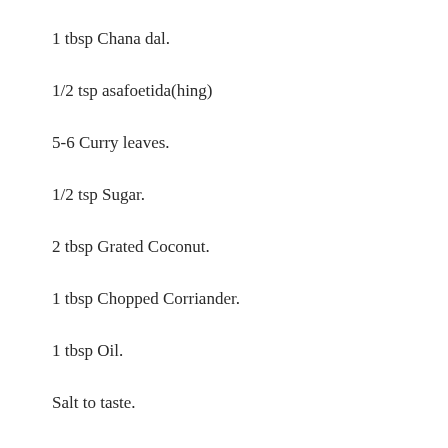1 tbsp Chana dal.
1/2 tsp asafoetida(hing)
5-6 Curry leaves.
1/2 tsp Sugar.
2 tbsp Grated Coconut.
1 tbsp Chopped Corriander.
1 tbsp Oil.
Salt to taste.